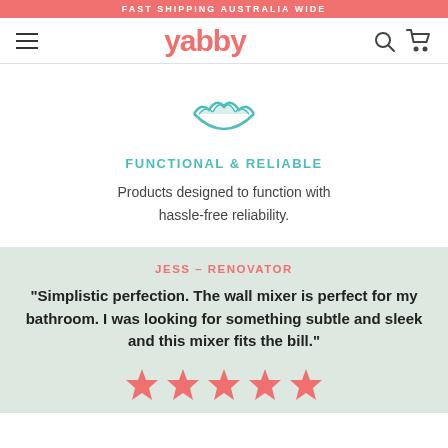FAST SHIPPING AUSTRALIA WIDE
yabby
[Figure (illustration): Teal/green decorative shell or basin icon]
FUNCTIONAL & RELIABLE
Products designed to function with hassle-free reliability.
JESS – RENOVATOR
"Simplistic perfection. The wall mixer is perfect for my bathroom. I was looking for something subtle and sleek and this mixer fits the bill."
[Figure (illustration): Five coral/red star rating icons]